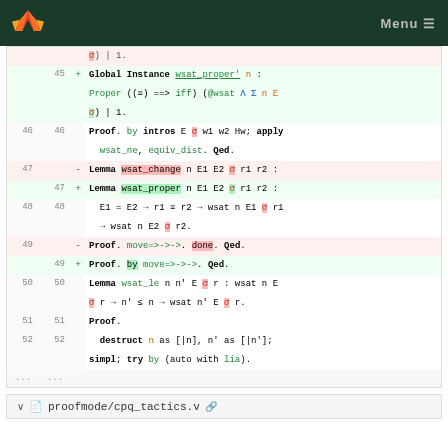GitLab — Menu
[Figure (screenshot): Code diff view showing Coq proof code changes, lines 45-52, with additions and deletions highlighted in green/red]
proofmode/cpq_tactics.v